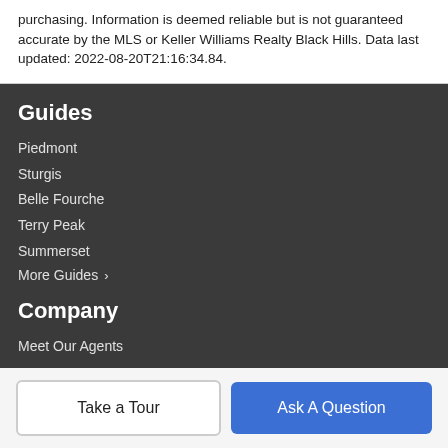purchasing. Information is deemed reliable but is not guaranteed accurate by the MLS or Keller Williams Realty Black Hills. Data last updated: 2022-08-20T21:16:34.84.
Guides
Piedmont
Sturgis
Belle Fourche
Terry Peak
Summerset
More Guides ›
Company
Meet Our Agents
Resources